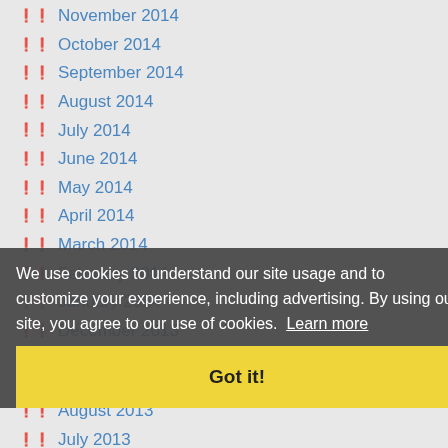November 2014
October 2014
September 2014
August 2014
July 2014
June 2014
May 2014
April 2014
March 2014
February 2014
January 2014
December 2013
November 2013
August 2013
July 2013
June 2013
May 2013
April 2013
We use cookies to understand our site usage and to customize your experience, including advertising. By using our site, you agree to our use of cookies. Learn more
Got it!